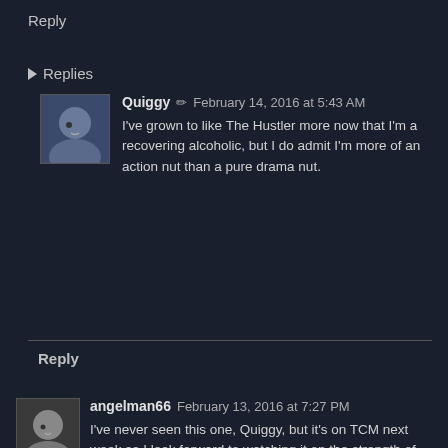Reply
Replies
Quiggy ✏ February 14, 2016 at 5:43 AM
I've grown to like The Hustler more now that I'm a recovering alcoholic, but I do admit I'm more of an action nut than a pure drama nut.
Reply
angelman66 February 13, 2016 at 7:27 PM
I've never seen this one, Quiggy, but it's on TCM next week so I look forward to watching it on the strength of your passion for it.
I too am not a fan of the film of West Side Story, especially since none of the principals did any of their own singing, including the two supporting actors who both won Oscars for it.
Now Henry Mancini and Moon River are another issue